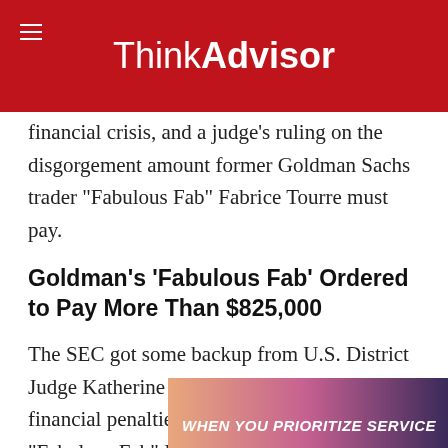ThinkAdvisor
financial crisis, and a judge's ruling on the disgorgement amount former Goldman Sachs trader “Fabulous Fab” Fabrice Tourre must pay.
Goldman’s ‘Fabulous Fab’ Ordered to Pay More Than $825,000
The SEC got some backup from U.S. District Judge Katherine Forrest in Manhattan for the financial penalties it sought to levy on “Fabulous Fab” Fabrice Tourre, former Goldman Sachs trader, for his role in defrauding investors in subprime mortgage products that me… financial crisis.
[Figure (other): Advertisement overlay: mountain silhouette background with pink/purple gradient sky and bold white italic text reading WHEN YOU PRIORITIZE SERVICE]